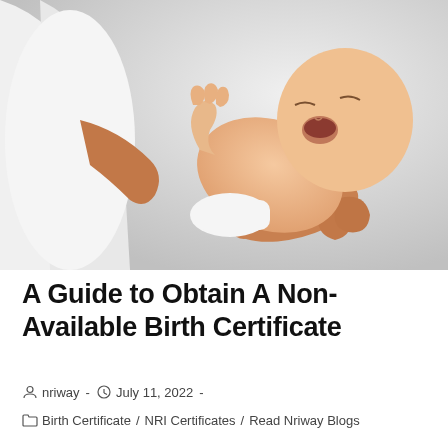[Figure (photo): A person in a white shirt holding a newborn baby who is yawning, photographed against a light grey background.]
A Guide to Obtain A Non-Available Birth Certificate
nriway  -  July 11, 2022  -
Birth Certificate / NRI Certificates / Read Nriway Blogs